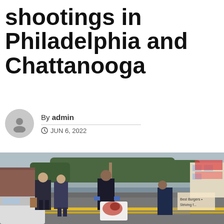shootings in Philadelphia and Chattanooga
By admin
JUN 6, 2022
[Figure (photo): Police officers and investigators at a crime scene on a city street, one officer holding a blood-stained white garment, yellow crime scene tape visible in background]